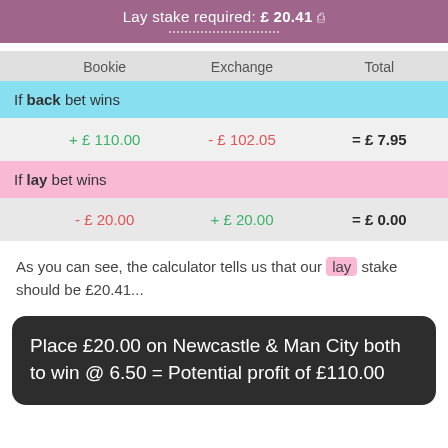Lay stake required: £ 20.41
|  | Bookie | Exchange | Total |
| --- | --- | --- | --- |
| If back bet wins |  |  |  |
|  | + £ 110.00 | - £ 102.05 | = £ 7.95 |
| If lay bet wins |  |  |  |
|  | - £ 20.00 | + £ 20.00 | = £ 0.00 |
As you can see, the calculator tells us that our lay stake should be £20.41...
Place £20.00 on Newcastle & Man City both to win @ 6.50 = Potential profit of £110.00